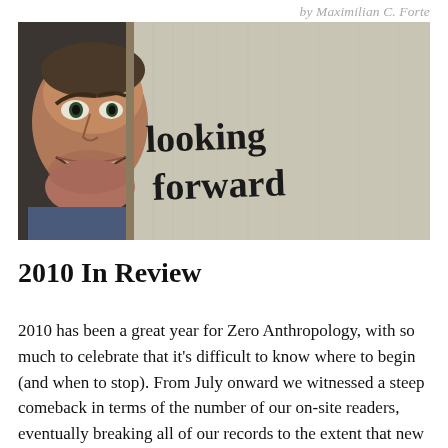by Maximilian C. Forte
[Figure (photo): A man peering through a gap (Jack Nicholson from The Shining), with the words 'looking forward' written in dark paint on a light surface beside him.]
2010 In Review
2010 has been a great year for Zero Anthropology, with so much to celebrate that it's difficult to know where to begin (and when to stop). From July onward we witnessed a steep comeback in terms of the number of our on-site readers, eventually breaking all of our records to the extent that new